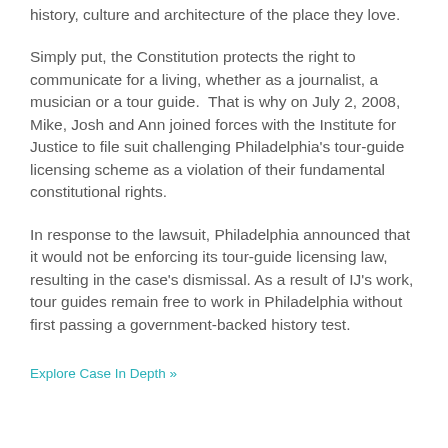history, culture and architecture of the place they love.
Simply put, the Constitution protects the right to communicate for a living, whether as a journalist, a musician or a tour guide.  That is why on July 2, 2008, Mike, Josh and Ann joined forces with the Institute for Justice to file suit challenging Philadelphia's tour-guide licensing scheme as a violation of their fundamental constitutional rights.
In response to the lawsuit, Philadelphia announced that it would not be enforcing its tour-guide licensing law, resulting in the case's dismissal. As a result of IJ's work, tour guides remain free to work in Philadelphia without first passing a government-backed history test.
Explore Case In Depth »